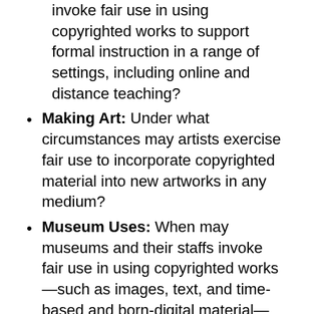invoke fair use in using copyrighted works to support formal instruction in a range of settings, including online and distance teaching?
Making Art: Under what circumstances may artists exercise fair use to incorporate copyrighted material into new artworks in any medium?
Museum Uses: When may museums and their staffs invoke fair use in using copyrighted works—such as images, text, and time-based and born-digital material—when organizing exhibitions, developing educational materials (within the museum and online), publishing catalogues, and other related activities?
Online Access to Archival and Special Collections: When may such institutions and their staffs claim fair use to create digital